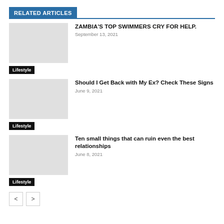RELATED ARTICLES
ZAMBIA'S TOP SWIMMERS CRY FOR HELP.
September 13, 2021
Lifestyle
Should I Get Back with My Ex? Check These Signs
June 9, 2021
Lifestyle
Ten small things that can ruin even the best relationships
June 8, 2021
Lifestyle